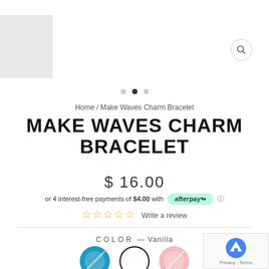[Figure (screenshot): Top image area with gray block on left side, representing product image carousel area]
Home / Make Waves Charm Bracelet
MAKE WAVES CHARM BRACELET
$ 16.00
or 4 interest-free payments of $4.00 with afterpay
Write a review
COLOR — Vanilla
[Figure (illustration): Three color swatches: teal/blue, white (selected with black border), and pink]